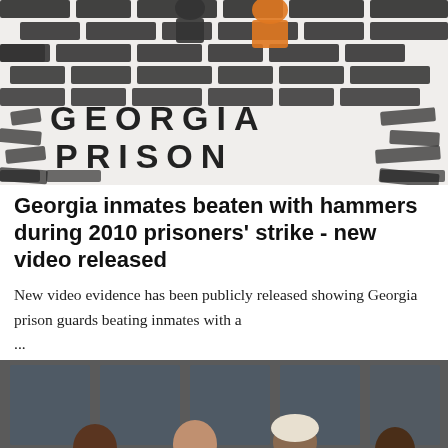[Figure (illustration): Illustration of a brick wall with the text 'GEORGIA PRISON' spelled out in brick-shaped letters. Figures in orange and dark clothing are visible at the top of the wall.]
Georgia inmates beaten with hammers during 2010 prisoners' strike - new video released
New video evidence has been publicly released showing Georgia prison guards beating inmates with a ...
[Figure (photo): Photo of four men, appearing to be inmates in blue shirts, seated around a table in what looks like a prison meeting room.]